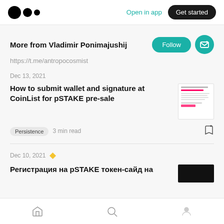Medium logo | Open in app | Get started
More from Vladimir Ponimajushij
https://t.me/antropocosmist
Dec 13, 2021
How to submit wallet and signature at CoinList for pSTAKE pre-sale
Persistence  3 min read
Dec 10, 2021
Регистрация на pSTAKE токен-сайд на